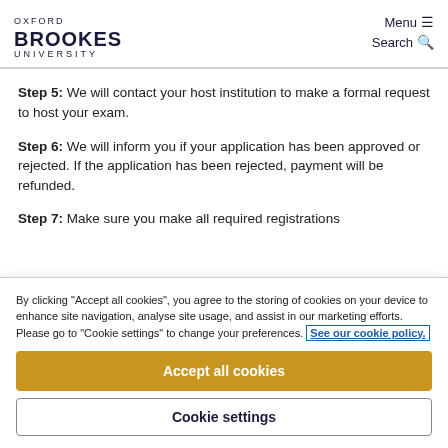OXFORD BROOKES UNIVERSITY | Menu | Search
Step 5: We will contact your host institution to make a formal request to host your exam.
Step 6: We will inform you if your application has been approved or rejected. If the application has been rejected, payment will be refunded.
Step 7: Make sure you make all required registrations
By clicking "Accept all cookies", you agree to the storing of cookies on your device to enhance site navigation, analyse site usage, and assist in our marketing efforts. Please go to "Cookie settings" to change your preferences. See our cookie policy.
Accept all cookies
Cookie settings